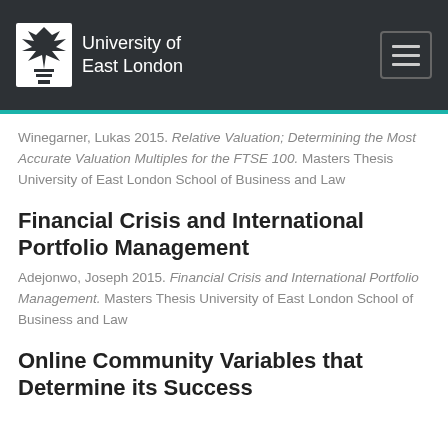University of East London
Winegarner, Lukas 2015. Relative Valuation; Determining the Most Accurate Valuation Multiples for the FTSE 100. Masters Thesis University of East London School of Business and Law
Financial Crisis and International Portfolio Management
Adejonwo, Joseph 2015. Financial Crisis and International Portfolio Management. Masters Thesis University of East London School of Business and Law
Online Community Variables that Determine its Success